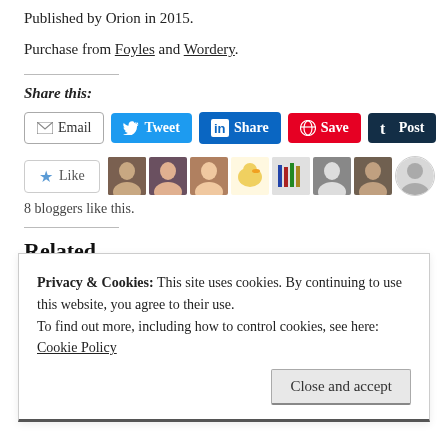Published by Orion in 2015.
Purchase from Foyles and Wordery.
Share this:
[Figure (screenshot): Social sharing buttons: Email, Tweet (Twitter), Share (LinkedIn), Save (Pinterest), Post (Tumblr)]
[Figure (screenshot): Like button with star icon, followed by 8 blogger avatar images]
8 bloggers like this.
Related
[Figure (screenshot): Two related article preview images partially visible]
Privacy & Cookies: This site uses cookies. By continuing to use this website, you agree to their use.
To find out more, including how to control cookies, see here: Cookie Policy
Close and accept